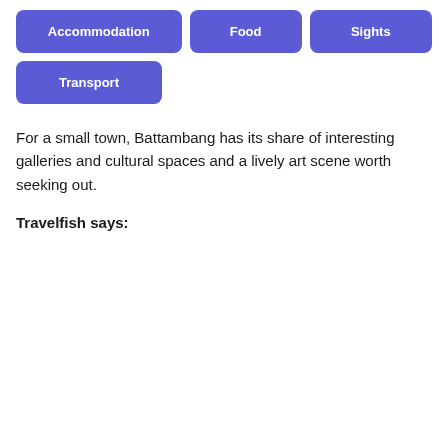Accommodation
Food
Sights
Transport
For a small town, Battambang has its share of interesting galleries and cultural spaces and a lively art scene worth seeking out.
Travelfish says: